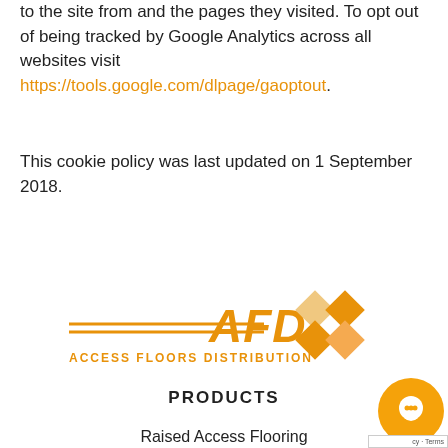to the site from and the pages they visited. To opt out of being tracked by Google Analytics across all websites visit https://tools.google.com/dlpage/gaoptout.
This cookie policy was last updated on 1 September 2018.
[Figure (logo): AFD Access Floors Distribution logo with orange diamond tile pattern and double horizontal lines]
PRODUCTS
Raised Access Flooring